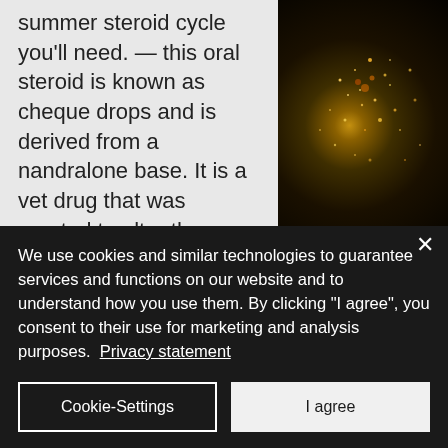[Figure (photo): Night-time satellite photo of Earth showing city lights, predominantly dark with orange/yellow light clusters visible in the right portion of the image.]
summer steroid cycle you'll need. — this oral steroid is known as cheque drops and is derived from a nandralone base. It is a vet drug that was created to alter the ovulating cycle. Information on best legal steroids. 6 years ago more. Top advanced steroid cycle stacks. By this point in your bodybuilding career, you'll have found steroids that you tolerate well and others that you prefer to Best steroid cycle for weight gain. In this text, we are going to speak about how one can lose some weight shortly this summer time and which anabolic best. However,
We use cookies and similar technologies to guarantee services and functions on our website and to understand how you use them. By clicking "I agree", you consent to their use for marketing and analysis purposes. Privacy statement